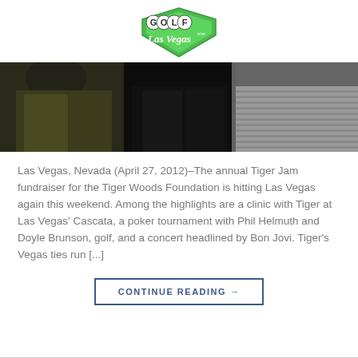[Figure (logo): Golf Las Vegas logo — green diamond/shield shape with 'GOLF' in bold lettered circles and 'Las Vegas' in cursive script below]
[Figure (photo): Dark photograph showing three people standing together, torsos/bodies visible, dark background, one person in olive/green jacket on left, one in dark clothing center, one in grey sweater on right]
Las Vegas, Nevada (April 27, 2012)–The annual Tiger Jam fundraiser for the Tiger Woods Foundation is hitting Las Vegas again this weekend. Among the highlights are a clinic with Tiger at Las Vegas' Cascata, a poker tournament with Phil Helmuth and Doyle Brunson, golf, and a concert headlined by Bon Jovi. Tiger's Vegas ties run [...]
CONTINUE READING →